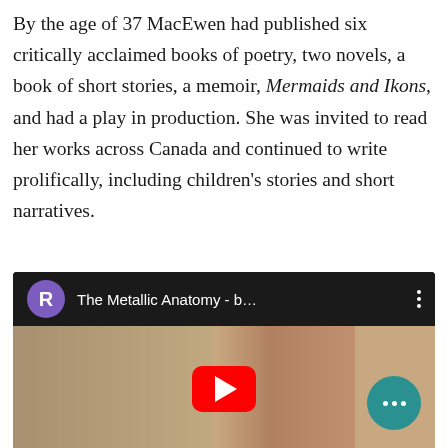By the age of 37 MacEwen had published six critically acclaimed books of poetry, two novels, a book of short stories, a memoir, Mermaids and Ikons, and had a play in production. She was invited to read her works across Canada and continued to write prolifically, including children's stories and short narratives.
[Figure (screenshot): YouTube video embed showing 'The Metallic Anatomy - b...' with a purple avatar circle labeled R, three vertical dots menu, and a thumbnail of a person in a sepia-toned outdoor scene with a red YouTube play button and a teal circle with three dots in the lower right.]